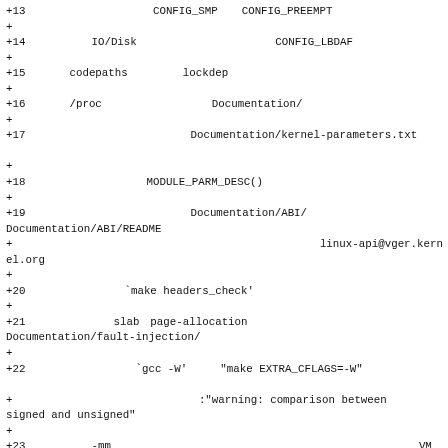+13　　　　　　　　　　　　　 CONFIG_SMP　CONFIG_PREEMPT　　　　　　
+
+14　　　　　IO/Disk　　　　　　　　　　　　　 CONFIG_LBDAF　　　
+
+15　　　codepaths　　　　　lockdep　　　　
+
+16　　　/proc　　　　　　　　　　Documentation/　　　
+
+17　　　　　　　　　　　　　　　Documentation/kernel-parameters.txt
　　　　
+
+18　　　　　　　　　　MODULE_PARM_DESC()　　　
+
+19　　　　　　　　　　　　　　　Documentation/ABI/　　
Documentation/ABI/README
+        　　　　　　　　　　　　　　　　　　　　　　　　　linux-api@vger.kernel.org　
+
+20　　　　　　　　　`make headers_check'　
+
+21　　　　　　　　slab　page-allocation　　　　　　　
Documentation/fault-injection/　
+
+22　　　　　　　　　　`gcc -W'　　"make EXTRA_CFLAGS=-W"　　　　　　　
　　　　　
+        　　　　　　　　　　　　　　:"warning: comparison between
signed and unsigned"　
+
+23　　　　　-mm　　　　　　　　　　　　　　　　　　　　　　　　　　　　　VM　VFS
+